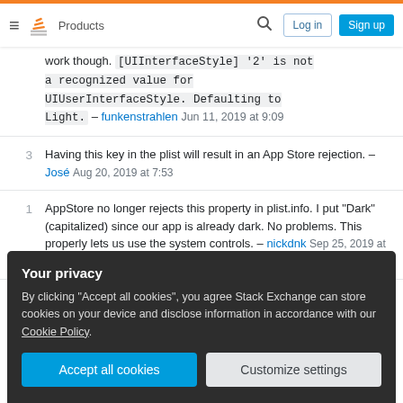Stack Overflow navigation bar with hamburger menu, logo, Products, search, Log in, Sign up
work though. [UIInterfaceStyle] '2' is not a recognized value for UIUserInterfaceStyle. Defaulting to Light. – funkenstrahlen Jun 11, 2019 at 9:09
3  Having this key in the plist will result in an App Store rejection. – José Aug 20, 2019 at 7:53
1  AppStore no longer rejects this property in plist.info. I put "Dark" (capitalized) since our app is already dark. No problems. This properly lets us use the system controls. – nickdnk Sep 25, 2019 at 16:31 ✏
1  Yes, I did. It doesn't change the fact that Apple does accept this parameter in the plist, which was what I
Your privacy
By clicking "Accept all cookies", you agree Stack Exchange can store cookies on your device and disclose information in accordance with our Cookie Policy.
Accept all cookies  Customize settings